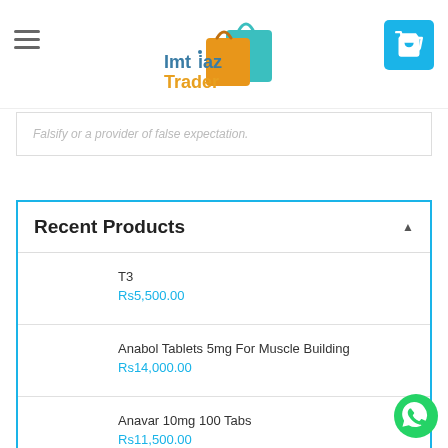Imtiaz Trader — navigation header with logo and cart button
Falsify or a provider of false expectation.
Recent Products
T3 — Rs5,500.00
Anabol Tablets 5mg For Muscle Building — Rs14,000.00
Anavar 10mg 100 Tabs — Rs11,500.00